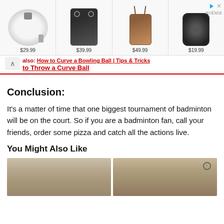[Figure (other): Advertisement banner with 4 product items: round white pouch $29.99, black phone case $39.99, brown crossbody phone bag $49.99, black leather keychain case $19.99. NOÉMIE brand logo in top right.]
also: How to Curve a Bowling Ball | Tips & Tricks to Throw a Curve Ball
Conclusion:
It's a matter of time that one biggest tournament of badminton will be on the court. So if you are a badminton fan, call your friends, order some pizza and catch all the actions live.
You Might Also Like
[Figure (photo): Two side-by-side portrait photos of people with gray/blonde hair, cropped to show tops of heads and foreheads.]